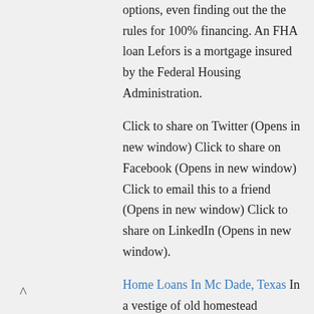options, even finding out the the rules for 100% financing. An FHA loan Lefors is a mortgage insured by the Federal Housing Administration.
Click to share on Twitter (Opens in new window) Click to share on Facebook (Opens in new window) Click to email this to a friend (Opens in new window) Click to share on LinkedIn (Opens in new window).
Home Loans In Mc Dade, Texas In a vestige of old homestead protection laws, Texas cash-out refinances are bound by the provisions of any previous refinance, Mr. Walsh says. Many lenders thus won't refinance a home that already.
^